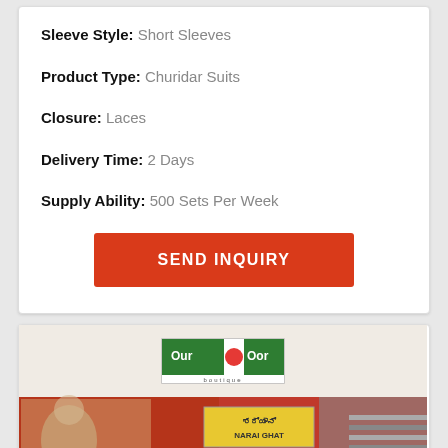Sleeve Style: Short Sleeves
Product Type: Churidar Suits
Closure: Laces
Delivery Time: 2 Days
Supply Ability: 500 Sets Per Week
SEND INQUIRY
[Figure (photo): Boutique brand logo 'Our Oor Boutique' with green and red text on white background, above a street scene photo with a red brick building, Indian street signage reading 'NARAI GHAT', wall art/paintings, and people on the street.]